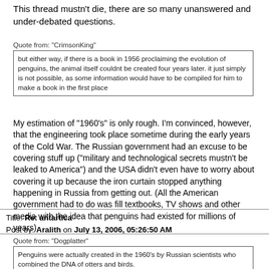This thread mustn't die, there are so many unanswered and under-debated questions.
Quote from: "CrimsonKing"
but either way, if there is a book in 1956 proclaiming the evolution of penguins, the animal itself couldnt be created four years later. it just simply is not possible, as some information would have to be compiled for him to make a book in the first place
My estimation of "1960's" is only rough. I'm convinced, however, that the engineering took place sometime during the early years of the Cold War. The Russian government had an excuse to be covering stuff up ("military and technological secrets mustn't be leaked to America") and the USA didn't even have to worry about covering it up because the iron curtain stopped anything happening in Russia from getting out. (All the American government had to do was fill textbooks, TV shows and other media with the idea that penguins had existed for millions of years).
Title: Re: antartica
Post by: Aralith on July 13, 2006, 05:26:50 AM
Quote from: "Dogplatter"
Penguins were actually created in the 1960's by Russian scientists who combined the DNA of otters and birds.
The presence of penguins around the ice wall is actually a clever means of providing a reliable food source for conspiracy staff stationed there.